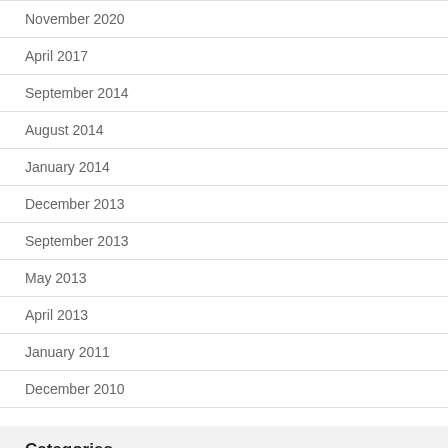November 2020
April 2017
September 2014
August 2014
January 2014
December 2013
September 2013
May 2013
April 2013
January 2011
December 2010
Categories
Ham Radio